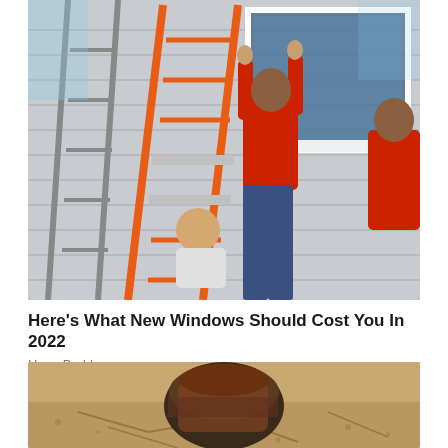[Figure (photo): Workers installing a window on the exterior of a house, using an orange ladder. A person in a red shirt and blue jeans is seen reaching up to install the window frame.]
Here's What New Windows Should Cost You In 2022
HomeBuddy
[Figure (photo): Close-up photo of a rusty metal object partially buried in sandy/rocky ground.]